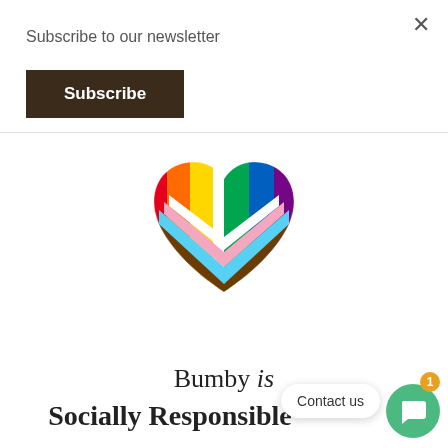Subscribe to our newsletter
Subscribe
[Figure (illustration): Progress Pride flag heart emoji — a heart shape filled with rainbow stripes (red, orange, yellow, green, blue, purple) on the outer halves and chevron stripes (black, brown, light blue, pink, white) in the center]
Bumby is
Socially Responsible
Contact us